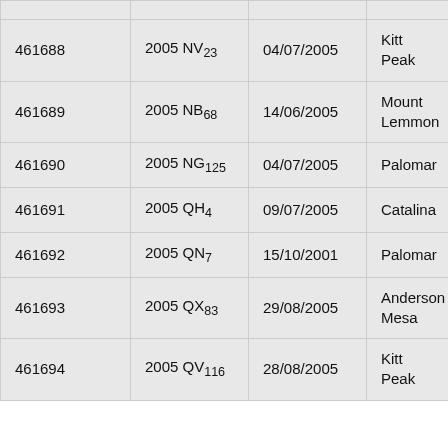| 461688 | 2005 NV₂₃ | 04/07/2005 | Kitt Peak |
| 461689 | 2005 NB₆₈ | 14/06/2005 | Mount Lemmon |
| 461690 | 2005 NG₁₂₅ | 04/07/2005 | Palomar |
| 461691 | 2005 QH₄ | 09/07/2005 | Catalina |
| 461692 | 2005 QN₇ | 15/10/2001 | Palomar |
| 461693 | 2005 QX₈₃ | 29/08/2005 | Anderson Mesa |
| 461694 | 2005 QV₁₁₆ | 28/08/2005 | Kitt Peak |